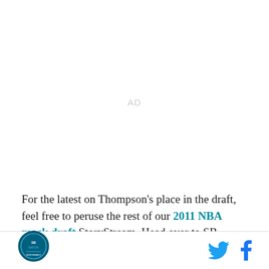[Figure (other): AD placeholder area — gray 'AD' text centered in white space]
For the latest on Thompson's place in the draft, feel free to peruse the rest of our 2011 NBA mock draft StoryStream. Head over to SB Nation's CougCenter for all things Washington State athletics, as well
Footer with site logo and social media icons (Twitter, Facebook)